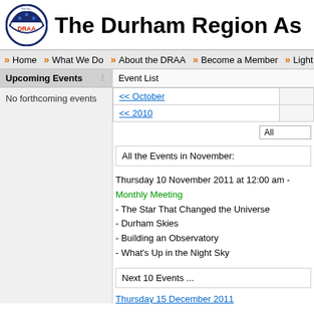The Durham Region As
Home | What We Do | About the DRAA | Become a Member | Light Poll...
Upcoming Events
Event List
No forthcoming events
|  |  |
| --- | --- |
| << October |  |
| << 2010 |  |
All
All the Events in November:
Thursday 10 November 2011 at 12:00 am - Monthly Meeting
- The Star That Changed the Universe
- Durham Skies
- Building an Observatory
- What's Up in the Night Sky
Next 10 Events ...
Thursday 15 December 2011
Thursday 12 January 2012